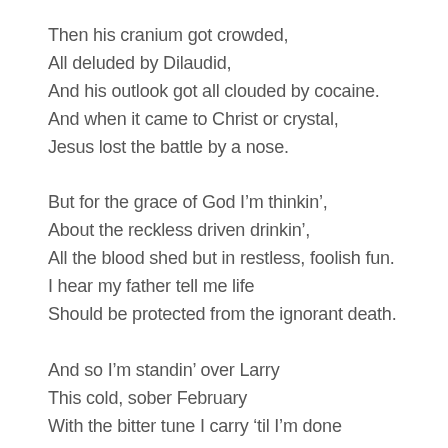Then his cranium got crowded,
All deluded by Dilaudid,
And his outlook got all clouded by cocaine.
And when it came to Christ or crystal,
Jesus lost the battle by a nose.
But for the grace of God I'm thinkin',
About the reckless driven drinkin',
All the blood shed but in restless, foolish fun.
I hear my father tell me life
Should be protected from the ignorant death.
And so I'm standin' over Larry
This cold, sober February
With the bitter tune I carry 'til I'm done